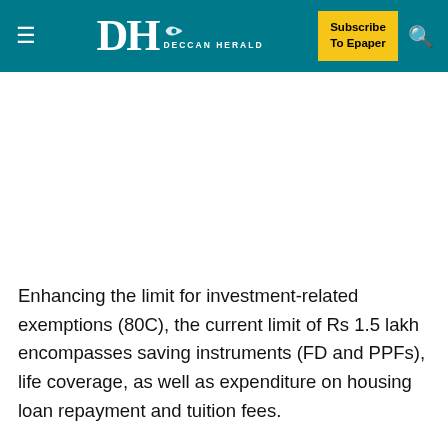DH DECCAN HERALD | Subscribe To Epaper
Enhancing the limit for investment-related exemptions (80C), the current limit of Rs 1.5 lakh encompasses saving instruments (FD and PPFs), life coverage, as well as expenditure on housing loan repayment and tuition fees.